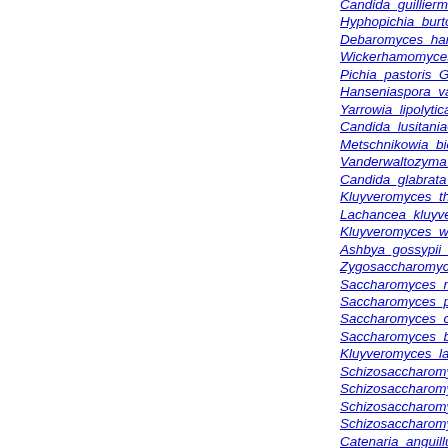Candida_guilliermondii_ATCC_6260_
Hyphopichia_burtonii_NRRL_Y-1933_v1.0
Debaromyces_hansenii
Wickerhamomyces_anomalus
Pichia_pastoris_GS115_
Hanseniaspora_valbyensis_NRRL_Y-1626_v1.1
Yarrowia_lipolytica_CLIB122
Candida_lusitaniae_ATCC_42720_
Metschnikowia_bicuspidata_NRRL_YB-4993_v1.0
Vanderwaltozyma_polyspora_DSM_70294_
Candida_glabrata_CBS138
Kluyveromyces_thermotolerans_CBS_6340
Lachancea_kluyveri_
Kluyveromyces_waltii
Ashbya_gossypii_ATCC_10895_
Zygosaccharomyces_rouxii_
Saccharomyces_mikatae_MIT
Saccharomyces_paradoxus_MIT
Saccharomyces_cerevisiae_76
Saccharomyces_bayanus_MIT
Kluyveromyces_lactis
Schizosaccharomyces_cryophilus_OY26_22
Schizosaccharomyces_octosporus_yFS286_
Schizosaccharomyces_japonicus_yFS275_
Schizosaccharomyces_pombe
Catenaria_anguillulae_PL171_v1.0
Allomyces_macrogynus_ATCC_38327_
Spizellomyces_punctatus_DAOM_BR117_
Dictyostelium_discoideum
Dictyostelium_purpureum_
Entamoeba_dispar_1.2_